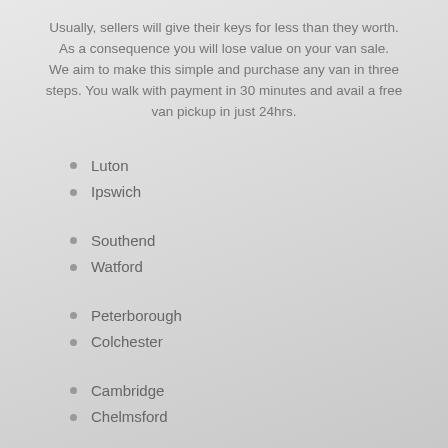Usually, sellers will give their keys for less than they worth. As a consequence you will lose value on your van sale. We aim to make this simple and purchase any van in three steps. You walk with payment in 30 minutes and avail a free van pickup in just 24hrs.
Luton
Ipswich
Southend
Watford
Peterborough
Colchester
Cambridge
Chelmsford